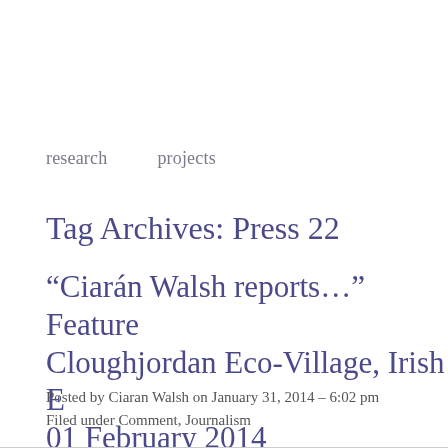research    projects
Tag Archives: Press 22
“Ciarán Walsh reports…” Feature Cloughjordan Eco-Village, Irish E… 01 February 2014
Posted by Ciaran Walsh on January 31, 2014 – 6:02 pm
Filed under Comment, Journalism